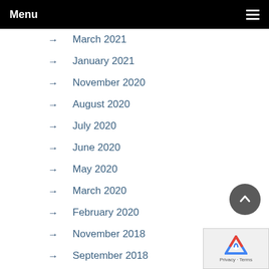Menu
March 2021
January 2021
November 2020
August 2020
July 2020
June 2020
May 2020
March 2020
February 2020
November 2018
September 2018
August 2018